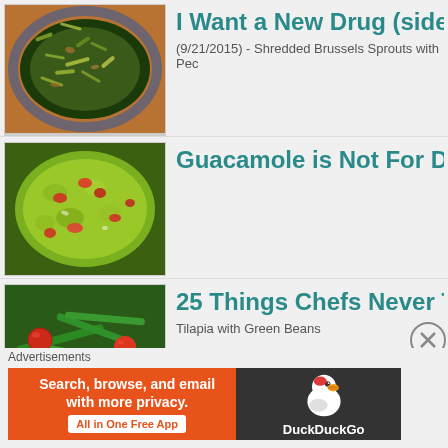[Figure (photo): Shredded Brussels sprouts dish on a blue plate]
I Want a New Drug (side...
(9/21/2015) - Shredded Brussels Sprouts with Pec...
[Figure (photo): Guacamole with tomatoes and onions]
Guacamole is Not For D...
[Figure (photo): Tilapia with green beans and cherry tomatoes]
25 Things Chefs Never T...
Tilapia with Green Beans
Advertisements
[Figure (screenshot): DuckDuckGo advertisement banner: Search, browse, and email with more privacy. All in One Free App.]